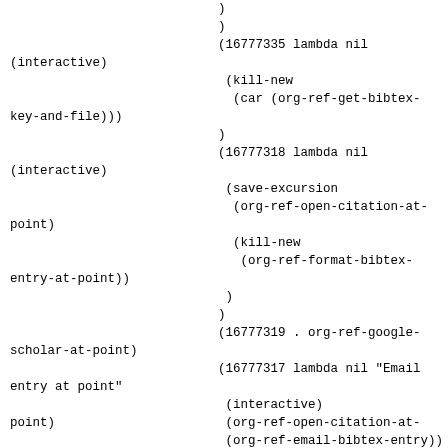)
)
(16777335 lambda nil
(interactive)
 (kill-new
  (car (org-ref-get-bibtex-
key-and-file)))
)
(16777318 lambda nil
(interactive)
 (save-excursion
  (org-ref-open-citation-at-
point)
  (kill-new
   (org-ref-format-bibtex-
entry-at-point))
 )
)
(16777319 . org-ref-google-
scholar-at-point)
(16777317 lambda nil "Email
entry at point"
 (interactive)
 (org-ref-open-citation-at-
point)
 (org-ref-email-bibtex-entry))
(16777315 . org-ref-wos-
citing-at-point)
(16777330 . org-ref-wos-
related-at-point)